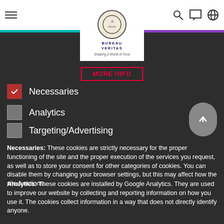Bureau Veritas — Shaping a World of Trust
[Figure (logo): Bureau Veritas logo with circular emblem and tagline 'Shaping a World of Trust']
Necessaries (checked)
Analytics
Targeting/Advertising
Necessaries: These cookies are strictly necessary for the proper functioning of the site and the proper execution of the services you request, as well as to store your consent for other categories of cookies. You can disable them by changing your browser settings, but this may affect how the site functions.
Analytics: These cookies are installed by Google Analytics. They are used to improve our website by collecting and reporting information on how you use it. The cookies collect information in a way that does not directly identify anyone.